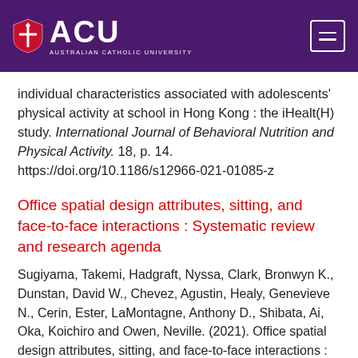ACU — Australian Catholic University
individual characteristics associated with adolescents' physical activity at school in Hong Kong : the iHealt(H) study. International Journal of Behavioral Nutrition and Physical Activity. 18, p. 14. https://doi.org/10.1186/s12966-021-01085-z
Office spatial design attributes, sitting, and face-to-face interactions : Systematic review and research agenda
Sugiyama, Takemi, Hadgraft, Nyssa, Clark, Bronwyn K., Dunstan, David W., Chevez, Agustin, Healy, Genevieve N., Cerin, Ester, LaMontagne, Anthony D., Shibata, Ai, Oka, Koichiro and Owen, Neville. (2021). Office spatial design attributes, sitting, and face-to-face interactions : Systematic review and